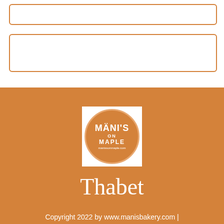[Figure (logo): Two empty orange-bordered rounded rectangle input boxes at the top of the page]
[Figure (logo): Mani's on Maple circular logo with white text on orange background, inside a white square]
Thabet
Copyright 2022 by www.manisbakery.com |